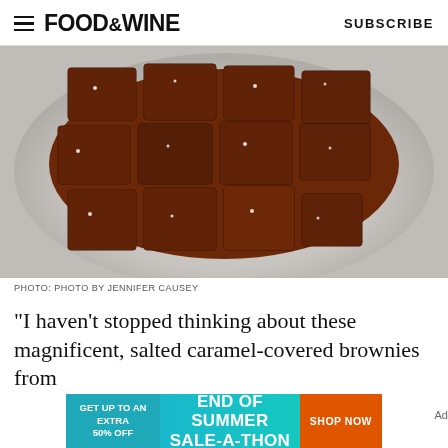FOOD&WINE  SUBSCRIBE
[Figure (photo): Overhead view of salted caramel-covered brownies cut into squares arranged on a round plate, glazed with rich chocolate caramel sauce and sprinkled with flaky sea salt]
PHOTO: PHOTO BY JENNIFER CAUSEY
"I haven't stopped thinking about these magnificent, salted caramel-covered brownies from
[Figure (infographic): Advertisement banner: GET UP TO AN EXTRA 50% OFF | END OF SUMMER SALE-A-THON | SHOP NOW]